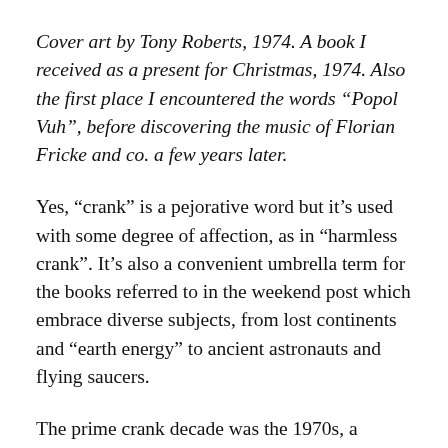Cover art by Tony Roberts, 1974. A book I received as a present for Christmas, 1974. Also the first place I encountered the words “Popol Vuh”, before discovering the music of Florian Fricke and co. a few years later.
Yes, “crank” is a pejorative word but it’s used with some degree of affection, as in “harmless crank”. It’s also a convenient umbrella term for the books referred to in the weekend post which embrace diverse subjects, from lost continents and “earth energy” to ancient astronauts and flying saucers.
The prime crank decade was the 1970s, a period when publishers were falling over themselves